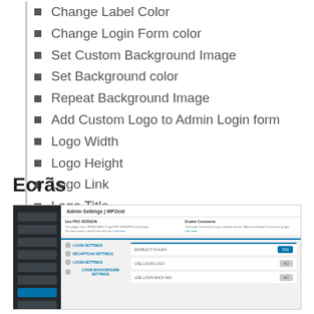Custom Form Font
Change Label Color
Change Login Form color
Set Custom Background Image
Set Background color
Repeat Background Image
Add Custom Logo to Admin Login form
Logo Width
Logo Height
Logo Link
Logo Title
Ecrãs
[Figure (screenshot): Admin Settings | WPZest plugin settings page screenshot showing WordPress admin dashboard with sidebar navigation and login settings panel with toggle options]